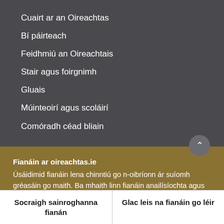Cuairt ar an Oireachtas
Bí páirteach
Feidhmiú an Oireachtais
Stair agus foirgnimh
Gluais
Múinteoirí agus scoláirí
Comóradh céad bliain
Fianáin ar oireachtas.ie
Úsáidimid fianáin lena chinntiú go n-oibríonn ár suíomh gréasáin go maith. Ba mhaith linn fianáin anailísíochta agus feidhmiúlachta a úsáid chun cabhrú linn é a fheabhsú ach ní mór dúinn cead a fháil uait sin a dhéanamh. Mura bhfuil tú sásta cead a thabhairt, ní úsáidfear ach fianáin riachtanacha. Léigh tuileadh faoinár bhfianáin
Socraigh sainroghanna fianán
Glac leis na fianáin go léir